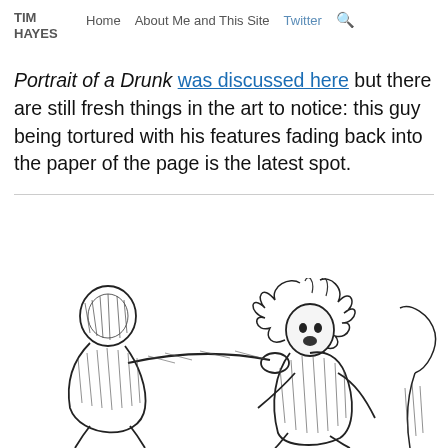TIM HAYES  Home  About Me and This Site  Twitter  🔍
Portrait of a Drunk was discussed here but there are still fresh things in the art to notice: this guy being tortured with his features fading back into the paper of the page is the latest spot.
[Figure (illustration): Pen and ink sketch of two figures — one faceless blob-like figure on the left reaching out, and a wild-haired woman on the right recoiling, both rendered in crosshatched black ink on white background.]